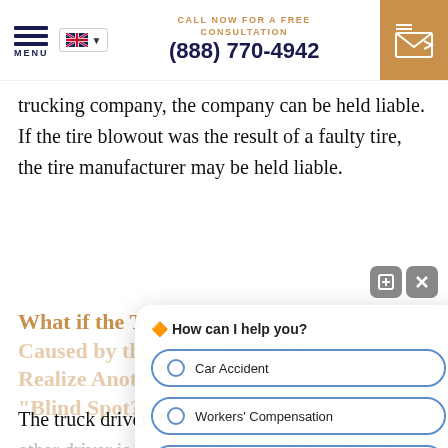CALL NOW FOR A FREE CONSULTATION (888) 770-4942
trucking company, the company can be held liable. If the tire blowout was the result of a faulty tire, the tire manufacturer may be held liable.
What if the Truck Accident was Caused by the Driver Failing to Realize Another Vehicle is in the "Blind Spot?"
The truck driver is required to ensure that no other driver is present in his truck's large blind
[Figure (screenshot): Chat widget overlay with options: Car Accident, Workers' Compensation, Slip & Fall. Header says '🔶 How can I help you?']